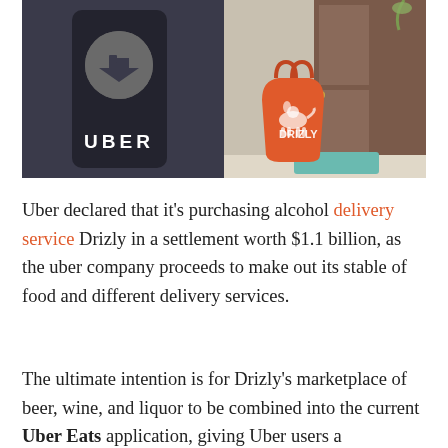[Figure (photo): Left half: a smartphone with the Uber logo (circle with arrow) and the word UBER on a dark background. Right half: an orange Drizly shopping bag with a dog logo sitting outside a front door on a teal welcome mat.]
Uber declared that it's purchasing alcohol delivery service Drizly in a settlement worth $1.1 billion, as the uber company proceeds to make out its stable of food and different delivery services.
The ultimate intention is for Drizly's marketplace of beer, wine, and liquor to be combined into the current Uber Eats application, giving Uber users a